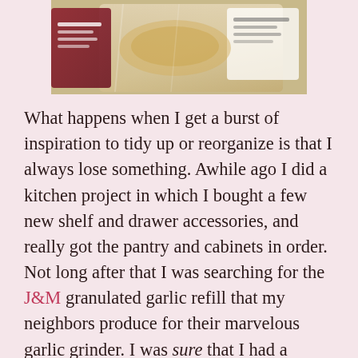[Figure (photo): A close-up photo of a packaged food item, appearing to be a spice or grain product in plastic packaging with a label, placed on a surface.]
What happens when I get a burst of inspiration to tidy up or reorganize is that I always lose something. Awhile ago I did a kitchen project in which I bought a few new shelf and drawer accessories, and really got the pantry and cabinets in order. Not long after that I was searching for the J&M granulated garlic refill that my neighbors produce for their marvelous garlic grinder. I was sure that I had a packet somewhere, but scoured my spice racks and drawers and couldn't find it. Some weeks after